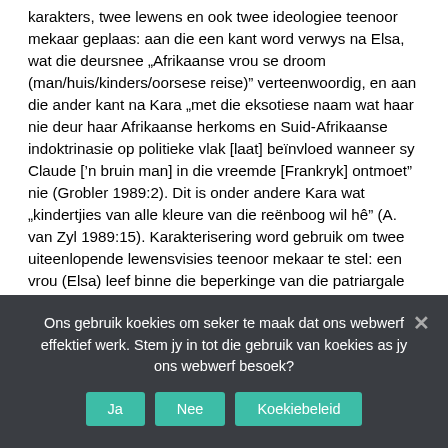karakters, twee lewens en ook twee ideologiee teenoor mekaar geplaas: aan die een kant word verwys na Elsa, wat die deursnee „Afrikaanse vrou se droom (man/huis/kinders/oorsese reise)” verteenwoordig, en aan die ander kant na Kara „met die eksotiese naam wat haar nie deur haar Afrikaanse herkoms en Suid-Afrikaanse indoktrinasie op politieke vlak [laat] beïnvloed wanneer sy Claude [’n bruin man] in die vreemde [Frankryk] ontmoet” nie (Grobler 1989:2). Dit is onder andere Kara wat „kindertjies van alle kleure van die reënboog wil hê” (A. van Zyl 1989:15). Karakterisering word gebruik om twee uiteenlopende lewensvisies teenoor mekaar te stel: een vrou (Elsa) leef binne die beperkinge van die patriargale bestel, terwyl die ander een buite die beperkinge van die Afrikanervrou optree.
Deur haar kennis en belewing van die (toe nog ou) Suid-
Ons gebruik koekies om seker te maak dat ons webwerf effektief werk. Stem jy in tot die gebruik van koekies as jy ons webwerf besoek?